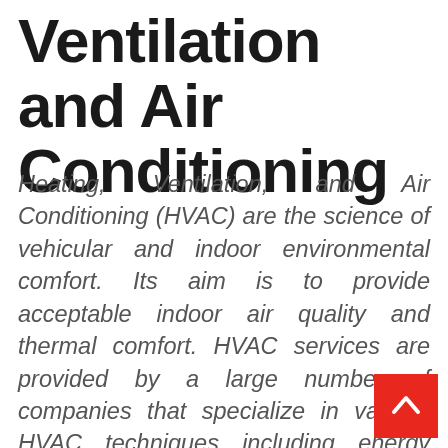Ventilation and Air Conditioning
Heating, Ventilation, and Air Conditioning (HVAC) are the science of vehicular and indoor environmental comfort. Its aim is to provide acceptable indoor air quality and thermal comfort. HVAC services are provided by a large number of companies that specialize in various HVAC techniques including energy management, HVAC engineering, HVAC design, and heating and cooling systems. These companies provide services to all types of establishments such as commercial establishments, institutional